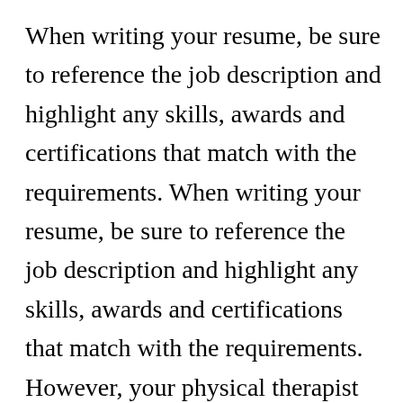When writing your resume, be sure to reference the job description and highlight any skills, awards and certifications that match with the requirements. When writing your resume, be sure to reference the job description and highlight any skills, awards and certifications that match with the requirements. However, your physical therapist resume should follow the outline detailed below: Physical therapists are healthcare professionals who help the patients visiting a medical facility with